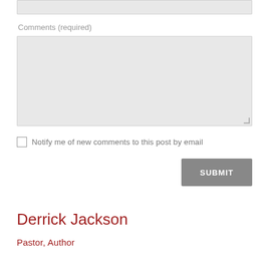Comments (required)
Notify me of new comments to this post by email
SUBMIT
Derrick Jackson
Pastor, Author